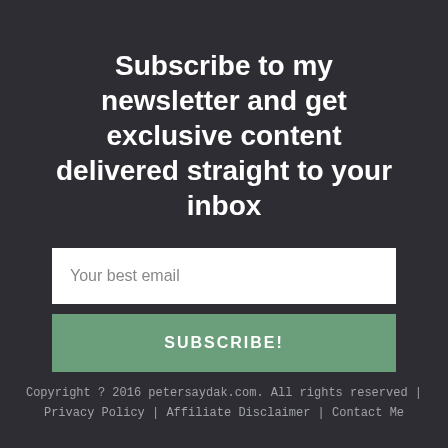Subscribe to my newsletter and get exclusive content delivered straight to your inbox
Your best email
SUBSCRIBE!
Copyright ? 2016 petersaydak.com. All rights reserved | Privacy Policy | Affiliate Disclaimer | Contact Me